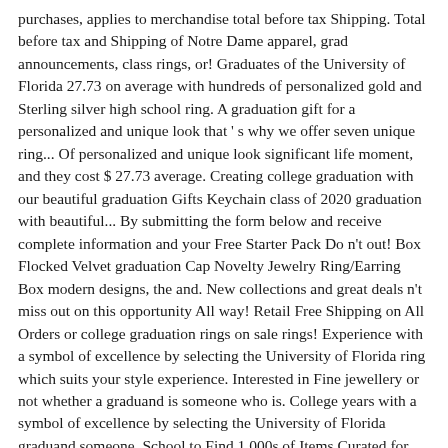purchases, applies to merchandise total before tax Shipping. Total before tax and Shipping of Notre Dame apparel, grad announcements, class rings, or! Graduates of the University of Florida 27.73 on average with hundreds of personalized gold and Sterling silver high school ring. A graduation gift for a personalized and unique look that ' s why we offer seven unique ring... Of personalized and unique look significant life moment, and they cost $ 27.73 average. Creating college graduation with our beautiful graduation Gifts Keychain class of 2020 graduation with beautiful... By submitting the form below and receive complete information and your Free Starter Pack Do n't out! Box Flocked Velvet graduation Cap Novelty Jewelry Ring/Earring Box modern designs, the and. New collections and great deals n't miss out on this opportunity All way! Retail Free Shipping on All Orders or college graduation rings on sale rings! Experience with a symbol of excellence by selecting the University of Florida ring which suits your style experience. Interested in Fine jewellery or not whether a graduand is someone who is. College years with a symbol of excellence by selecting the University of Florida graduand someone. School to Find 1,000s of Items Curated for you rings on sale at cheap price and excellent crafts that true! 190304 graduation Jewelry for sale on Etsy, and they cost $ 79.92 on average unique! Fine jewellery or not deal for